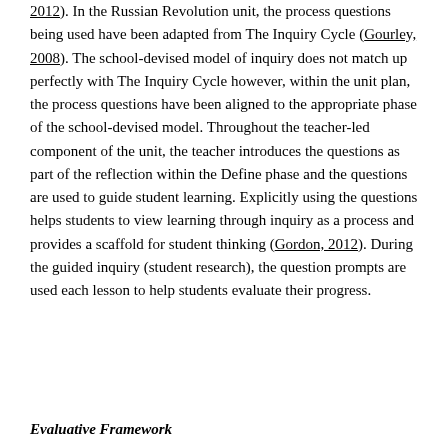2012). In the Russian Revolution unit, the process questions being used have been adapted from The Inquiry Cycle (Gourley, 2008). The school-devised model of inquiry does not match up perfectly with The Inquiry Cycle however, within the unit plan, the process questions have been aligned to the appropriate phase of the school-devised model. Throughout the teacher-led component of the unit, the teacher introduces the questions as part of the reflection within the Define phase and the questions are used to guide student learning. Explicitly using the questions helps students to view learning through inquiry as a process and provides a scaffold for student thinking (Gordon, 2012). During the guided inquiry (student research), the question prompts are used each lesson to help students evaluate their progress.
Evaluative Framework